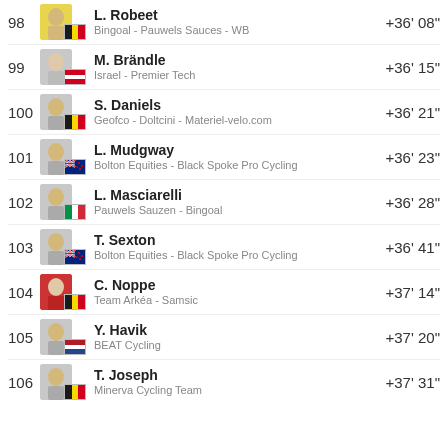98 L. Robeet - Bingoal - Pauwels Sauces - WB +36' 08"
99 M. Brändle - Israel - Premier Tech +36' 15"
100 S. Daniels - Geofco - Doltcini - Materiel-velo.com +36' 21"
101 L. Mudgway - Bolton Equities - Black Spoke Pro Cycling +36' 23"
102 L. Masciarelli - Pauwels Sauzen - Bingoal +36' 28"
103 T. Sexton - Bolton Equities - Black Spoke Pro Cycling +36' 41"
104 C. Noppe - Team Arkéa - Samsic +37' 14"
105 Y. Havik - BEAT Cycling +37' 20"
106 T. Joseph - Minerva Cycling Team +37' 31"